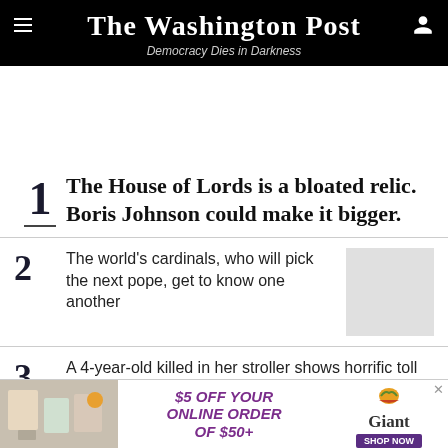The Washington Post — Democracy Dies in Darkness
1 The House of Lords is a bloated relic. Boris Johnson could make it bigger.
2 The world's cardinals, who will pick the next pope, get to know one another
3 A 4-year-old killed in her stroller shows horrific toll of Russia's war
[Figure (infographic): Giant grocery ad banner: $5 OFF YOUR ONLINE ORDER OF $50+ with Giant logo and Shop Now button]